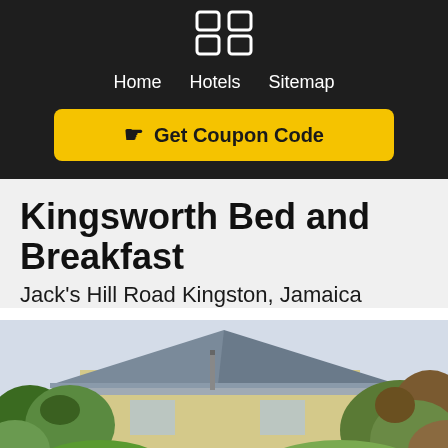[Figure (logo): Grid/app icon logo with four squares in dark header]
Home  Hotels  Sitemap
☛ Get Coupon Code
Kingsworth Bed and Breakfast
Jack's Hill Road Kingston, Jamaica
[Figure (photo): Exterior photo of Kingsworth Bed and Breakfast showing roofline of building surrounded by tropical trees and vegetation in Kingston, Jamaica]